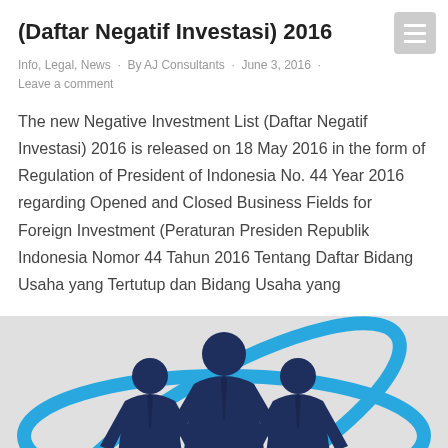(Daftar Negatif Investasi) 2016
Info, Legal, News · By AJ Consultants · June 3, 2016 · Leave a comment
The new Negative Investment List (Daftar Negatif Investasi) 2016 is released on 18 May 2016 in the form of Regulation of President of Indonesia No. 44 Year 2016 regarding Opened and Closed Business Fields for Foreign Investment (Peraturan Presiden Republik Indonesia Nomor 44 Tahun 2016 Tentang Daftar Bidang Usaha yang Tertutup dan Bidang Usaha yang
[Figure (illustration): Three businessmen silhouettes in dark navy blue suits standing together, surrounded by a blue circular orbit/ring graphic representing business or global investment]